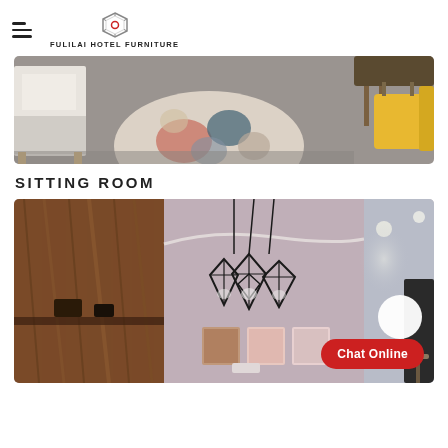FULILAI HOTEL FURNITURE
[Figure (photo): Hotel sitting room area with colorful circular rug on grey floor, wooden furniture including white cabinet, and yellow sofa visible at the edge]
SITTING ROOM
[Figure (photo): Hotel lobby/sitting room interior with wood-panelled wall on left, pendant lights (three geometric diamond-shaped black fixtures), framed artwork on mauve wall, recessed lighting on right side ceiling, and a Chat Online button overlay in red]